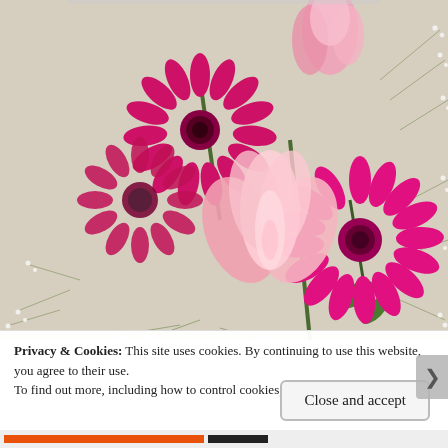[Figure (photo): Close-up photograph of a flower bouquet featuring magenta/deep pink gerbera daisies, a pink tulip in the foreground, another pink tulip bud at the top, and baby's breath sprigs, arranged on a light background.]
Privacy & Cookies: This site uses cookies. By continuing to use this website, you agree to their use.
To find out more, including how to control cookies, see here: Cookie Policy
Close and accept